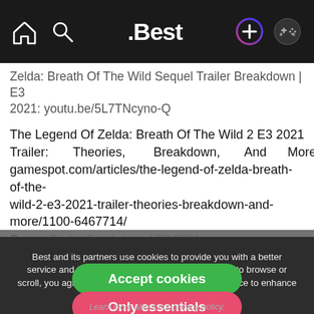.Best navigation bar with home, search, logo, plus, and profile icons
Zelda: Breath Of The Wild Sequel Trailer Breakdown | E3 2021: youtu.be/5L7TNcyno-Q
The Legend Of Zelda: Breath Of The Wild 2 E3 2021 Trailer: Theories, Breakdown, And More: gamespot.com/articles/the-legend-of-zelda-breath-of-the-wild-2-e3-2021-trailer-theories-breakdown-and-more/1100-6467714/
Best and its partners use cookies to provide you with a better service and to support our business. By continuing to browse or scroll, you agree to the storing of cookies on your device to enhance your Best experience.
Accept cookies
Only essentials
Learn more about our privacy policy.
Timestamps:
Intro - 00:00
Advance Wars 1+2: Re-Boot Camp - 00:44
Bayonetta 3 - 01:45
Hollow Knight...